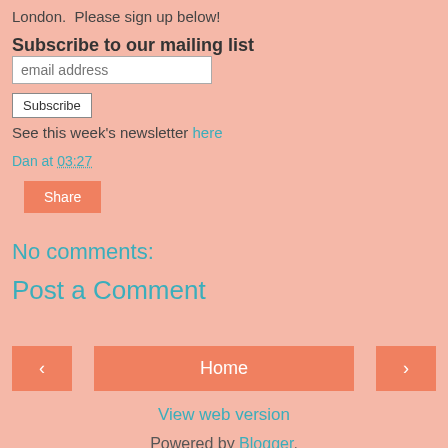London.  Please sign up below!
Subscribe to our mailing list [email address input] [Subscribe button]
See this week's newsletter here
Dan at 03:27
Share
No comments:
Post a Comment
< Home > View web version Powered by Blogger.